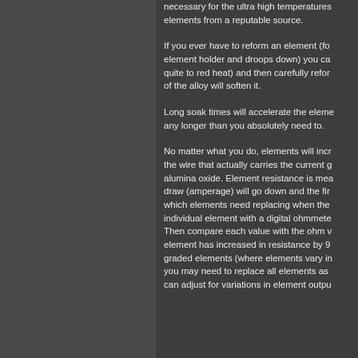necessary for the ultra high temperatures elements from a reputable source.
If you ever have to reform an element (for element holder and droops down) you ca quite to red heat) and then carefully refor of the alloy will soften it.
Long soak times will accelerate the eleme any longer than you absolutely need to.
No matter what you do, elements will incr the wire that actually carries the current g alumina oxide. Element resistance is mea draw (amperage) will go down and the fir which elements need replacing when the individual element with a digital ohmmete Then compare each value with the ohm v element has increased in resistance by 9 graded elements (where elements vary in you may need to replace all elements as can adjust for variations in element outpu